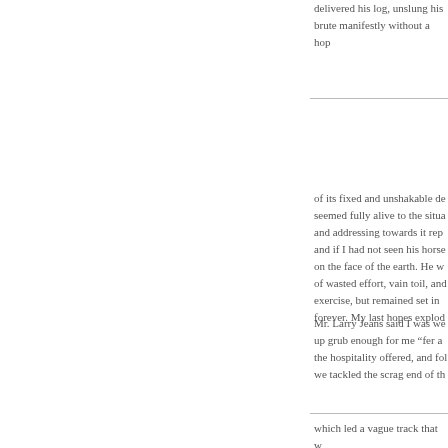delivered his log, unslung his brute manifestly without a hop
of its fixed and unshakable de seemed fully alive to the situa and addressing towards it rep and if I had not seen his horse on the face of the earth. He w of wasted effort, vain toil, and exercise, but remained set in forever. My last hopes explod
Mr. Larry Jeans said I was we up grub enough for me “fer a the hospitality offered, and fol we tackled the scrag end of th
which led a vague track that w